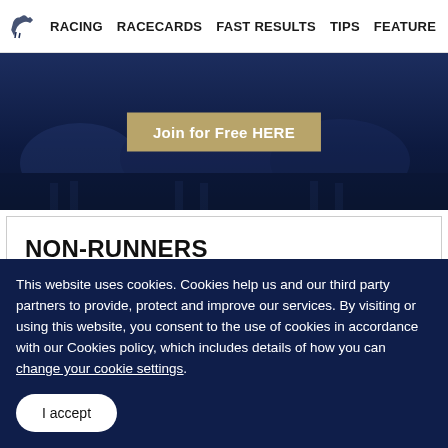RACING  RACECARDS  FAST RESULTS  TIPS  FEATURE
[Figure (photo): Dark navy blue hero banner with silhouettes of horses and jockeys, featuring a gold/tan 'Join for Free HERE' button in the center]
NON-RUNNERS
This website uses cookies. Cookies help us and our third party partners to provide, protect and improve our services. By visiting or using this website, you consent to the use of cookies in accordance with our Cookies policy, which includes details of how you can change your cookie settings.
I accept